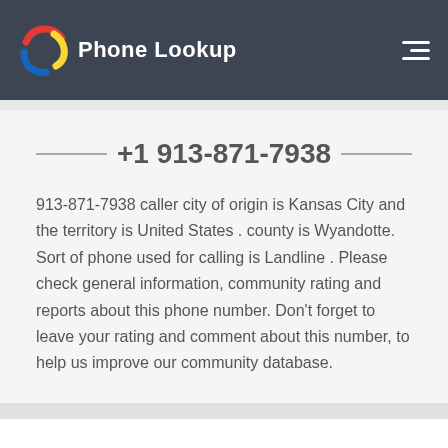Phone Lookup
+1 913-871-7938
913-871-7938 caller city of origin is Kansas City and the territory is United States . county is Wyandotte. Sort of phone used for calling is Landline . Please check general information, community rating and reports about this phone number. Don't forget to leave your rating and comment about this number, to help us improve our community database.